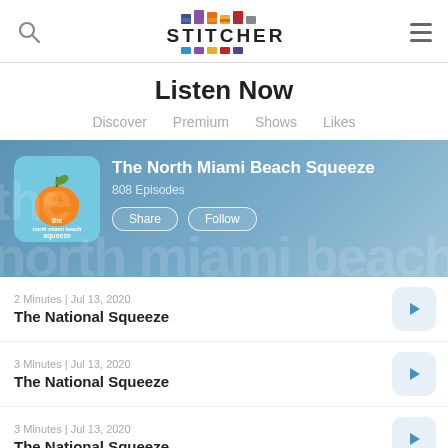Stitcher - Listen Now
Listen Now
Discover  Premium  Shows  Likes
[Figure (screenshot): Stitcher app banner for The North Miami Beach Squeeze podcast showing orange fruit logo, title, 808 Episodes, Share and Follow buttons on a blue background]
2 Minutes | Jul 13, 2020
The National Squeeze
3 Minutes | Jul 13, 2020
The National Squeeze
3 Minutes | Jul 13, 2020
The National Squeeze
2 Minutes | Jul 13, 2020
The Natio...